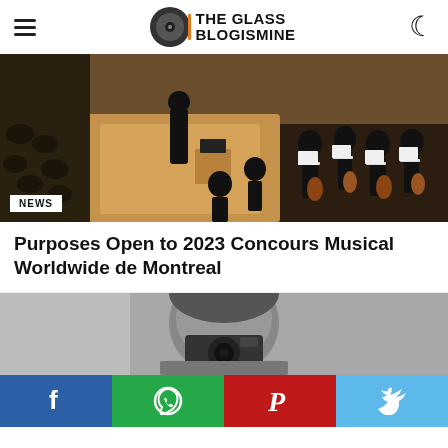THE GLASS BLOGISMINE
[Figure (photo): Overhead view of orchestra conductor and musicians on stage with instruments including strings, conductor at podium]
NEWS
Purposes Open to 2023 Concours Musical Worldwide de Montreal
[Figure (photo): Black and white photo of a person holding a camera up to their face]
f  (WhatsApp icon)  P  (Twitter bird icon)